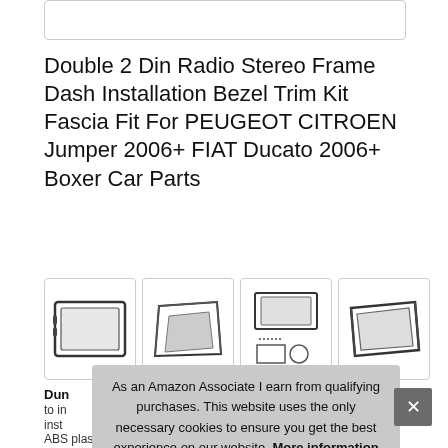[Figure (other): Top partial image box cropped at top]
Double 2 Din Radio Stereo Frame Dash Installation Bezel Trim Kit Fascia Fit For PEUGEOT CITROEN Jumper 2006+ FIAT Ducato 2006+ Boxer Car Parts
[Figure (photo): Four product thumbnail images showing the dash installation bezel trim kit from different angles]
Dun... to in... inst...
ABS plastic. 2. No modifications necessary.
As an Amazon Associate I earn from qualifying purchases. This website uses the only necessary cookies to ensure you get the best experience on our website. More information